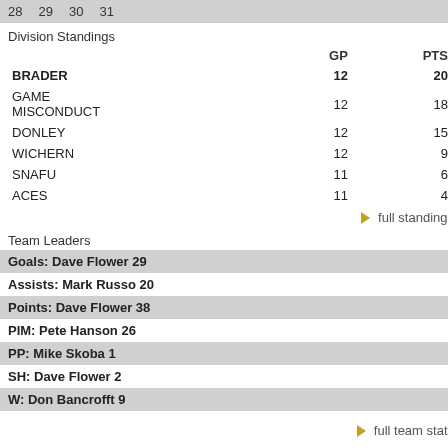28 29 30 31
Division Standings
|  | GP | PTS |
| --- | --- | --- |
| BRADER | 12 | 20 |
| GAME MISCONDUCT | 12 | 18 |
| DONLEY | 12 | 15 |
| WICHERN | 12 | 9 |
| SNAFU | 11 | 6 |
| ACES | 11 | 4 |
full standings
Team Leaders
Goals: Dave Flower 29
Assists: Mark Russo 20
Points: Dave Flower 38
PIM: Pete Hanson 26
PP: Mike Skoba 1
SH: Dave Flower 2
W: Don Bancrofft 9
full team stats
|  | 1 |
| --- | --- |
| BRADER | 1 |
| GAME MISCONDUCT | 2 |
Next Game Preview
No upcoming games
Recent Games (home on top)
BRADER 5 / GAME MISCONDUCT 2
BRADER 6 / WICHERN 4
SNAFU 6 / BRADER 7